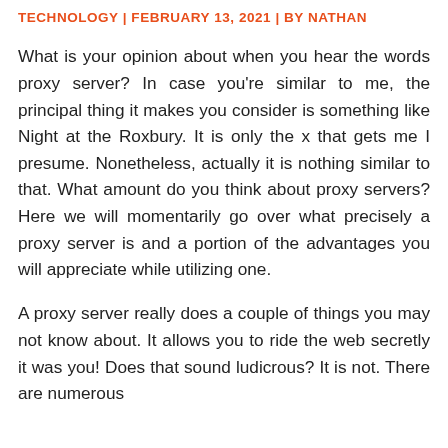TECHNOLOGY | FEBRUARY 13, 2021 | BY NATHAN
What is your opinion about when you hear the words proxy server? In case you're similar to me, the principal thing it makes you consider is something like Night at the Roxbury. It is only the x that gets me I presume. Nonetheless, actually it is nothing similar to that. What amount do you think about proxy servers? Here we will momentarily go over what precisely a proxy server is and a portion of the advantages you will appreciate while utilizing one.
A proxy server really does a couple of things you may not know about. It allows you to ride the web secretly it was you! Does that sound ludicrous? It is not. There are numerous